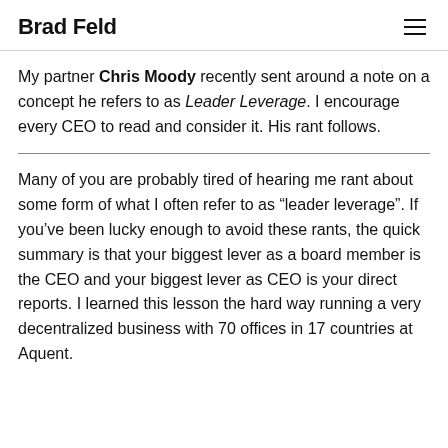Brad Feld
My partner Chris Moody recently sent around a note on a concept he refers to as Leader Leverage. I encourage every CEO to read and consider it. His rant follows.
Many of you are probably tired of hearing me rant about some form of what I often refer to as “leader leverage”. If you’ve been lucky enough to avoid these rants, the quick summary is that your biggest lever as a board member is the CEO and your biggest lever as CEO is your direct reports. I learned this lesson the hard way running a very decentralized business with 70 offices in 17 countries at Aquent.